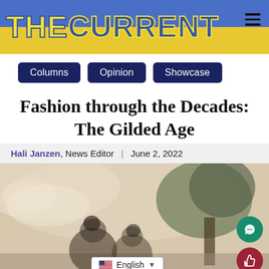[Figure (logo): The Current newspaper logo banner with blue and yellow/gold gradient background, bold stylized text 'THE CURRENT' in yellow with blue stroke and blue with yellow stroke letters, and a hamburger menu icon in the top right.]
Columns | Opinion | Showcase
Fashion through the Decades: The Gilded Age
Hali Janzen, News Editor | June 2, 2022
[Figure (photo): Vintage sepia-toned illustration or photograph of women in Gilded Age fashion, with trees in the background. A floating chat bubble icon and like/thumbs-up icon appear on the right side. An English language selector bar appears at the bottom.]